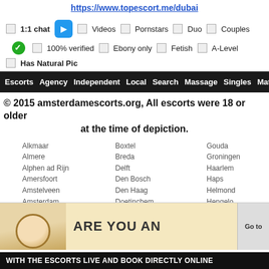https://www.topescort.me/dubai
1:1 chat   Videos   Pornstars   Duo   Couples
100% verified   Ebony only   Fetish   A-Level
Has Natural Pic
Escorts   Agency   Independent   Local   Search   Massage   Singles   Mature   Blog   Glo...
© 2015 amsterdamescorts.org, All escorts were 18 or older at the time of depiction.
Alkmaar
Almere
Alphen ad Rijn
Amersfoort
Amstelveen
Amsterdam
Apeldoorn
Boxtel
Breda
Delft
Den Bosch
Den Haag
Doetinchem
Dordrecht
Gouda
Groningen
Haarlem
Haps
Helmond
Hengelo
Hoofddorp
WITH THE ESCORTS LIVE AND BOOK DIRECTLY ONLINE